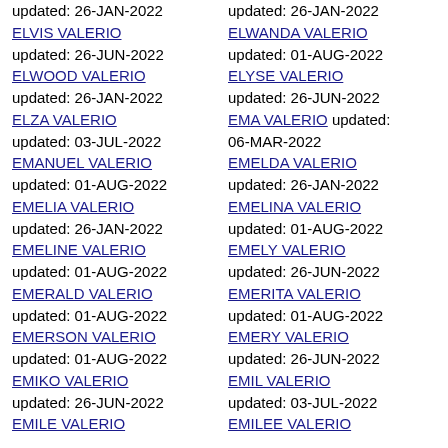updated: 26-JAN-2022
ELVIS VALERIO updated: 26-JUN-2022
ELWOOD VALERIO updated: 26-JAN-2022
ELZA VALERIO updated: 03-JUL-2022
EMANUEL VALERIO updated: 01-AUG-2022
EMELIA VALERIO updated: 26-JAN-2022
EMELINE VALERIO updated: 01-AUG-2022
EMERALD VALERIO updated: 01-AUG-2022
EMERSON VALERIO updated: 01-AUG-2022
EMIKO VALERIO updated: 26-JUN-2022
EMILE VALERIO
updated: 26-JAN-2022
ELWANDA VALERIO updated: 01-AUG-2022
ELYSE VALERIO updated: 26-JUN-2022
EMA VALERIO updated: 06-MAR-2022
EMELDA VALERIO updated: 26-JAN-2022
EMELINA VALERIO updated: 01-AUG-2022
EMELY VALERIO updated: 26-JUN-2022
EMERITA VALERIO updated: 01-AUG-2022
EMERY VALERIO updated: 26-JUN-2022
EMIL VALERIO updated: 03-JUL-2022
EMILEE VALERIO